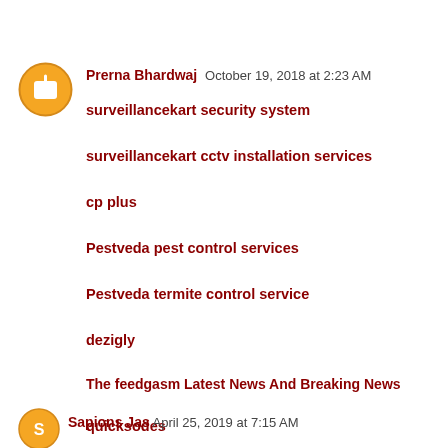[Figure (other): Orange Blogger avatar icon circle]
Prerna Bhardwaj October 19, 2018 at 2:23 AM
surveillancekart security system
surveillancekart cctv installation services
cp plus
Pestveda pest control services
Pestveda termite control service
dezigly
The feedgasm Latest News And Breaking News
quicksodes
Reply
[Figure (other): Orange avatar icon circle for second commenter]
Sapions Jas April 25, 2019 at 7:15 AM